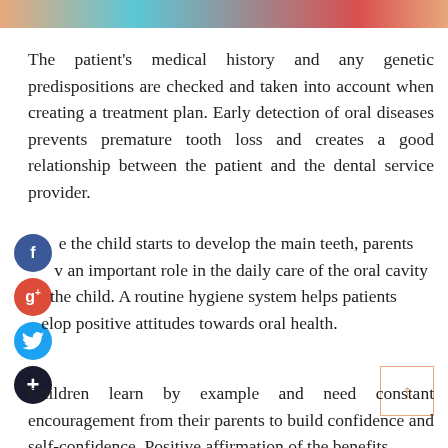[Figure (photo): Partial view of a colorful photo strip at the top of the page showing warm and teal tones]
The patient's medical history and any genetic predispositions are checked and taken into account when creating a treatment plan. Early detection of oral diseases prevents premature tooth loss and creates a good relationship between the patient and the dental service provider.
e the child starts to develop the main teeth, parents v an important role in the daily care of the oral cavity the child. A routine hygiene system helps patients elop positive attitudes towards oral health.
Children learn by example and need constant encouragement from their parents to build confidence and self-confidence. Positive affirmation of the benefits